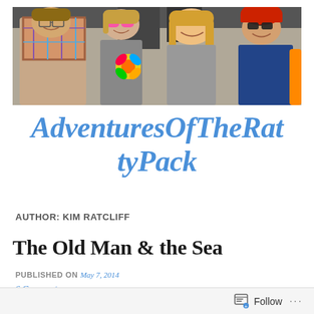[Figure (photo): Header photo of four people posing together, smiling, wearing sunglasses and hats, holding colorful pinwheels/decorations]
AdventuresOfTheRattyPack
AUTHOR: KIM RATCLIFF
The Old Man & the Sea
PUBLISHED ON May 7, 2014
6 Comments
Follow ...